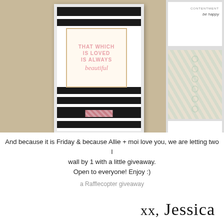[Figure (photo): A framed black-and-white striped art print on a tan/beige wall, with a smaller quote print overlay reading 'THAT WHICH IS LOVED IS ALWAYS beautiful' in pink lettering on a cream background with gold border. To the right, partial view of additional framed art including a 'be happy' text print and a mint chevron pattern print.]
And because it is Friday & because Allie + moi love you, we are letting two l... wall by 1 with a little giveaway.
Open to everyone! Enjoy :)
a Rafflecopter giveaway
xx, Jessica